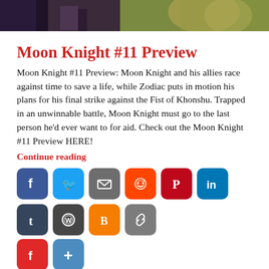[Figure (illustration): Top portion of a comic book cover image showing Moon Knight characters, partially cropped at the top of the page]
Moon Knight #11 Preview
Moon Knight #11 Preview: Moon Knight and his allies race against time to save a life, while Zodiac puts in motion his plans for his final strike against the Fist of Khonshu. Trapped in an unwinnable battle, Moon Knight must go to the last person he'd ever want to for aid. Check out the Moon Knight #11 Preview HERE!
Continue reading
[Figure (infographic): Social media sharing buttons: Facebook, Twitter, Email, Reddit, Pinterest, LinkedIn, Tumblr, WordPress, Blogger, Copy Link, Flipboard, More]
DISPATCHDCU / LEAVE A COMMENT